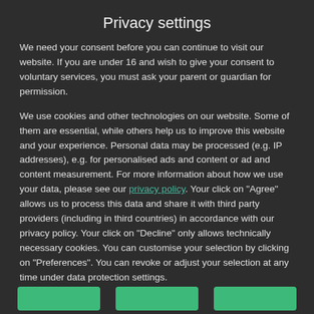Privacy settings
We need your consent before you can continue to visit our website. If you are under 16 and wish to give your consent to voluntary services, you must ask your parent or guardian for permission.
We use cookies and other technologies on our website. Some of them are essential, while others help us to improve this website and your experience. Personal data may be processed (e.g. IP addresses), e.g. for personalised ads and content or ad and content measurement. For more information about how we use your data, please see our privacy policy. Your click on "Agree" allows us to process this data and share it with third party providers (including in third countries) in accordance with our privacy policy. Your click on "Decline" only allows technically necessary cookies. You can customise your selection by clicking on "Preferences". You can revoke or adjust your selection at any time under data protection settings.